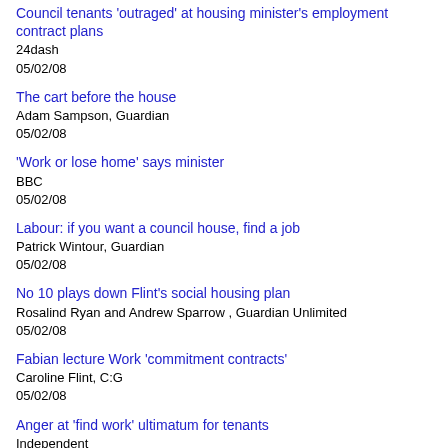Council tenants 'outraged' at housing minister's employment contract plans
24dash
05/02/08
The cart before the house
Adam Sampson, Guardian
05/02/08
'Work or lose home' says minister
BBC
05/02/08
Labour: if you want a council house, find a job
Patrick Wintour, Guardian
05/02/08
No 10 plays down Flint's social housing plan
Rosalind Ryan and Andrew Sparrow , Guardian Unlimited
05/02/08
Fabian lecture Work 'commitment contracts'
Caroline Flint, C:G
05/02/08
Anger at 'find work' ultimatum for tenants
Independent